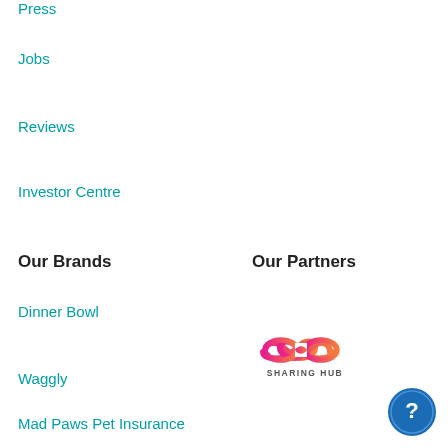Press
Jobs
Reviews
Investor Centre
Our Brands
Our Partners
Dinner Bowl
[Figure (logo): Sharing Hub logo — infinity symbol in pink-to-orange gradient with 'SHARING HUB' text below]
Waggly
Mad Paws Pet Insurance
[Figure (other): Blue circular help/question mark button in bottom right corner]